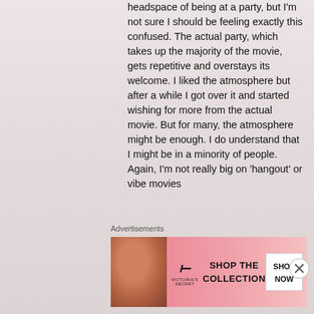headspace of being at a party, but I'm not sure I should be feeling exactly this confused. The actual party, which takes up the majority of the movie, gets repetitive and overstays its welcome. I liked the atmosphere but after a while I got over it and started wishing for more from the actual movie. But for many, the atmosphere might be enough. I do understand that I might be in a minority of people. Again, I'm not really big on 'hangout' or vibe movies
Advertisements
[Figure (other): Victoria's Secret advertisement banner showing a woman model on the left, VS logo in center-left, 'SHOP THE COLLECTION' text, and a 'SHOP NOW' button on a pink gradient background.]